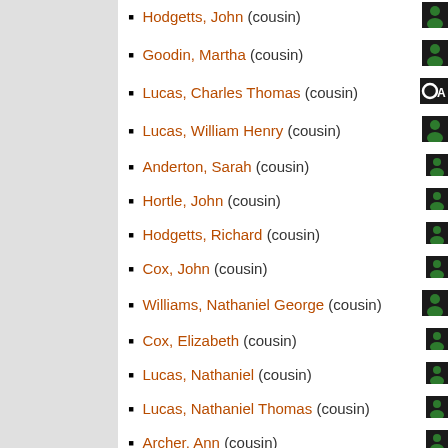Hodgetts, John (cousin)
Goodin, Martha (cousin)
Lucas, Charles Thomas (cousin)
Lucas, William Henry (cousin)
Anderton, Sarah (cousin)
Hortle, John (cousin)
Hodgetts, Richard (cousin)
Cox, John (cousin)
Williams, Nathaniel George (cousin)
Cox, Elizabeth (cousin)
Lucas, Nathaniel (cousin)
Lucas, Nathaniel Thomas (cousin)
Archer, Ann (cousin)
Parfitt, Jane (cousin)
Lucas, John (cousin)
(partially visible)